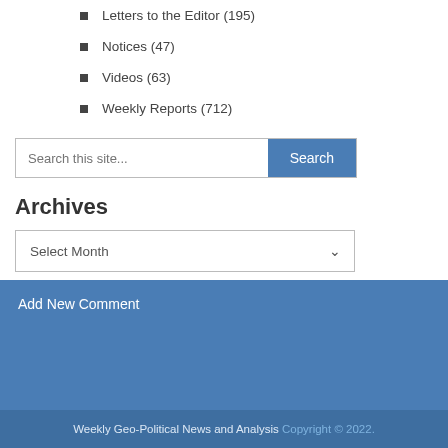Letters to the Editor (195)
Notices (47)
Videos (63)
Weekly Reports (712)
Archives
Add New Comment
Weekly Geo-Political News and Analysis Copyright © 2022.